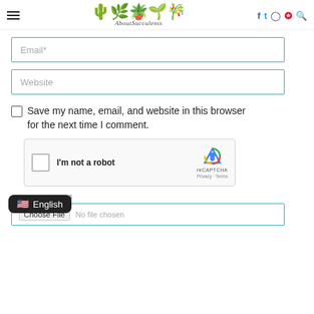AboutSucculents — navigation header with hamburger menu, logo, social icons (Facebook, Twitter, Instagram, Pinterest), and search
Email*
Website
Save my name, email, and website in this browser for the next time I comment.
[Figure (other): reCAPTCHA widget with checkbox labeled 'I'm not a robot']
ATTACHMENTS
Choose File  No file chosen
English